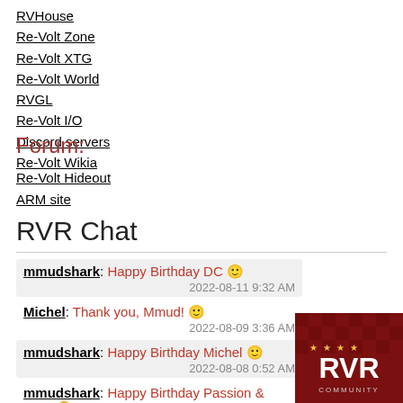RVHouse
Re-Volt Zone
Re-Volt XTG
Re-Volt World
RVGL
Re-Volt I/O
Discord servers
Re-Volt Wikia
Forum:
Re-Volt Hideout
ARM site
RVR Chat
mmudshark: Happy Birthday DC 😊 2022-08-11 9:32 AM
Michel: Thank you, Mmud! 😊 2022-08-09 3:36 AM
mmudshark: Happy Birthday Michel 😊 2022-08-08 0:52 AM
mmudshark: Happy Birthday Passion & Pure 😊 2022-08-04 0:36 AM
[Figure (logo): RVR Community logo on dark red checkered background with gold stars]